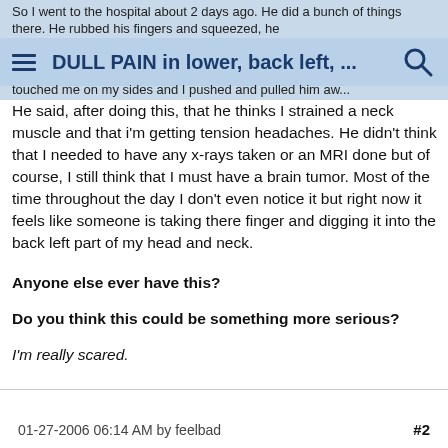So I went to the hospital about 2 days ago. He did a bunch of things there. He rubbed his fingers and squeezed, he touched me on my sides and I pushed and pulled him aw... | DULL PAIN in lower, back left, ...
He said, after doing this, that he thinks I strained a neck muscle and that i'm getting tension headaches. He didn't think that I needed to have any x-rays taken or an MRI done but of course, I still think that I must have a brain tumor. Most of the time throughout the day I don't even notice it but right now it feels like someone is taking there finger and digging it into the back left part of my head and neck.
Anyone else ever have this?
Do you think this could be something more serious?
I'm really scared.
01-27-2006 06:14 AM by feelbad   #2